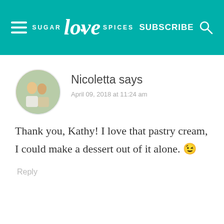SUGAR love SPICES  SUBSCRIBE
Nicoletta says
April 09, 2018 at 11:24 am
Thank you, Kathy! I love that pastry cream, I could make a dessert out of it alone. 😊
Reply